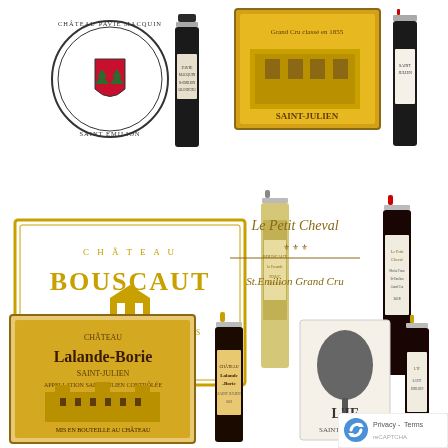[Figure (illustration): Château Pavie Macquin Saint Emilion logo (circular crest with green trees) and wine bottle]
[Figure (illustration): Saint-Julien château label (yellow/orange with building illustration) and wine bottle]
[Figure (illustration): Château Bouscaut Grand Cru Classé de Graves Pessac-Léognan label (gold border) and white wine bottle]
[Figure (illustration): Le Petit Cheval St. Emilion Grand Cru label and wine bottle with red capsule]
[Figure (illustration): Château Lalande-Borie Saint-Julien label and wine bottle]
[Figure (illustration): L'If Saint-Emilion label (with tree illustration) and wine bottle]
[Figure (logo): reCAPTCHA Privacy - Terms watermark in bottom right corner]